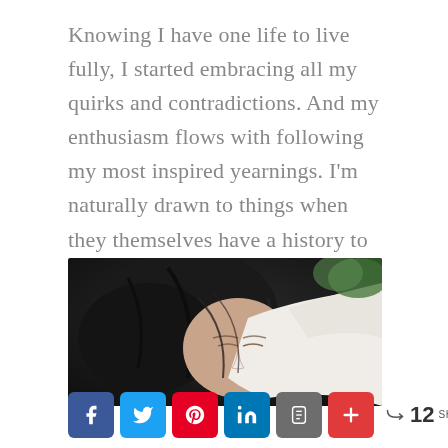Knowing I have one life to live fully, I started embracing all my quirks and contradictions. And my enthusiasm flows with following my most inspired yearnings. I'm naturally drawn to things when they themselves have a history to tell. And I love sharing those things that have lived a life steeped in strength that others could gain wisdom from.
[Figure (photo): Close-up photo of a person with dark curly hair, eyes closed, draped in white fabric, with some green foliage visible in the background.]